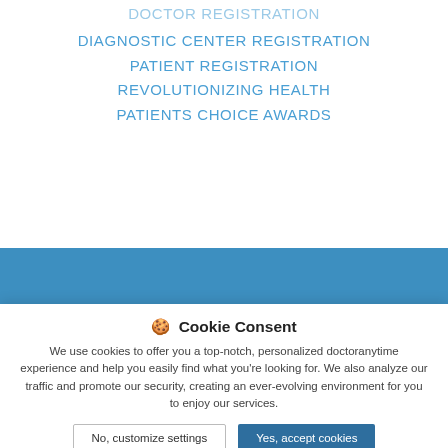DOCTOR REGISTRATION
DIAGNOSTIC CENTER REGISTRATION
PATIENT REGISTRATION
REVOLUTIONIZING HEALTH
PATIENTS CHOICE AWARDS
[Figure (screenshot): Blue banner background section of website]
🍪 Cookie Consent
We use cookies to offer you a top-notch, personalized doctoranytime experience and help you easily find what you're looking for. We also analyze our traffic and promote our security, creating an ever-evolving environment for you to enjoy our services.
No, customize settings | Yes, accept cookies